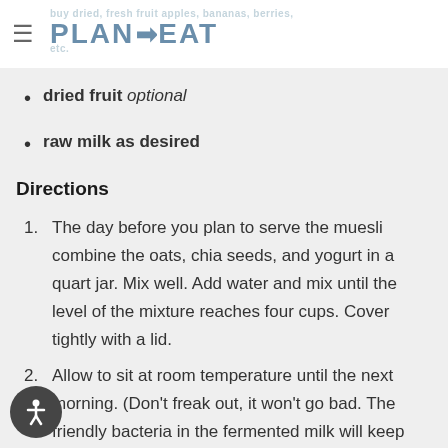Plan to Eat
dried fruit optional
raw milk as desired
Directions
1. The day before you plan to serve the muesli combine the oats, chia seeds, and yogurt in a quart jar. Mix well. Add water and mix until the level of the mixture reaches four cups. Cover tightly with a lid.
2. Allow to sit at room temperature until the next morning. (Don't freak out, it won't go bad. The friendly bacteria in the fermented milk will keep things safe.)